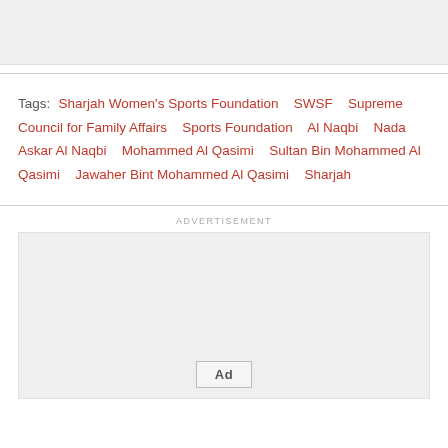[Figure (other): Gray placeholder image block at top of page]
Tags: Sharjah Women's Sports Foundation  SWSF  Supreme Council for Family Affairs  Sports Foundation  Al Naqbi  Nada Askar Al Naqbi  Mohammed Al Qasimi  Sultan Bin Mohammed Al Qasimi  Jawaher Bint Mohammed Al Qasimi  Sharjah
ADVERTISEMENT
[Figure (other): Advertisement placeholder box with Ad button]